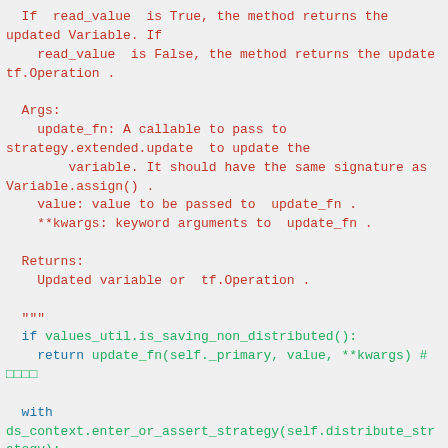If read_value is True, the method returns the updated Variable. If
    read_value  is False, the method returns the update
tf.Operation .

  Args:
    update_fn: A callable to pass to
strategy.extended.update  to update the
        variable. It should have the same signature as
Variable.assign() .
    value: value to be passed to  update_fn .
    **kwargs: keyword arguments to  update_fn .

  Returns:
    Updated variable or  tf.Operation .

  """
  if values_util.is_saving_non_distributed():
    return update_fn(self._primary, value, **kwargs) #
□□□□

  with
ds_context.enter_or_assert_strategy(self.distribute_str
ategy):